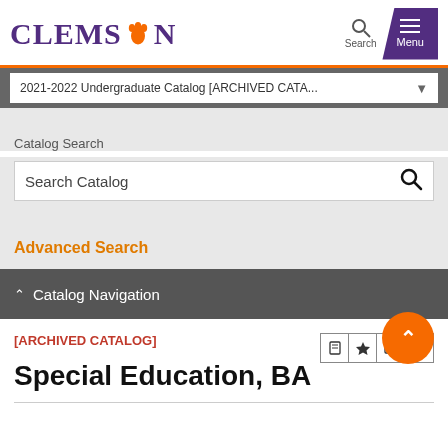[Figure (logo): Clemson University logo with purple text CLEMSON and orange paw print]
2021-2022 Undergraduate Catalog [ARCHIVED CATA...
Catalog Search
Search Catalog
Advanced Search
Catalog Navigation
[ARCHIVED CATALOG]
Special Education, BA